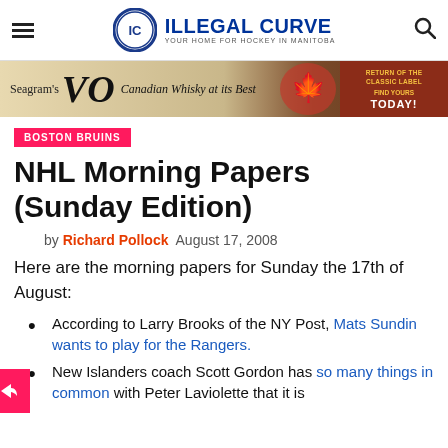ILLEGAL CURVE — YOUR HOME FOR HOCKEY IN MANITOBA
[Figure (illustration): Seagram's VO Canadian Whisky at its Best advertisement banner]
BOSTON BRUINS
NHL Morning Papers (Sunday Edition)
by Richard Pollock  August 17, 2008
Here are the morning papers for Sunday the 17th of August:
According to Larry Brooks of the NY Post, Mats Sundin wants to play for the Rangers.
New Islanders coach Scott Gordon has so many things in common with Peter Laviolette that it is